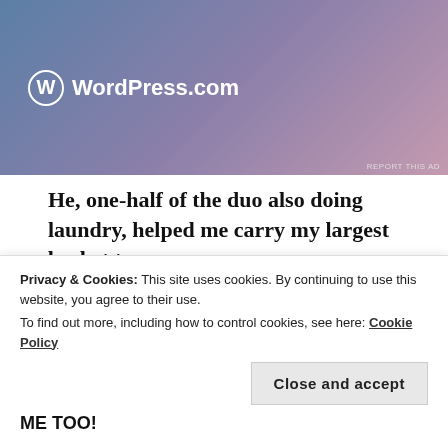[Figure (logo): WordPress.com advertisement banner with gradient blue-purple-pink background and WordPress logo]
He, one-half of the duo also doing laundry, helped me carry my largest basket to my car.
“Every time I come here I’m blessed in some way. You are so kind to help me,” I declared.
“Well, ma’am I was raised in Mississippi and if my Mom were
ME TOO!
Privacy & Cookies: This site uses cookies. By continuing to use this website, you agree to their use.
To find out more, including how to control cookies, see here: Cookie Policy